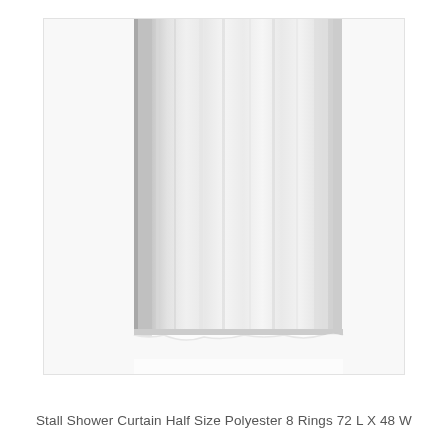[Figure (photo): A white stall shower curtain hanging, showing fabric folds and the bottom hem with slight wave. The curtain is photographed against a white background, showing the left side and bottom portion of the curtain panel.]
Stall Shower Curtain Half Size Polyester 8 Rings 72 L X 48 W